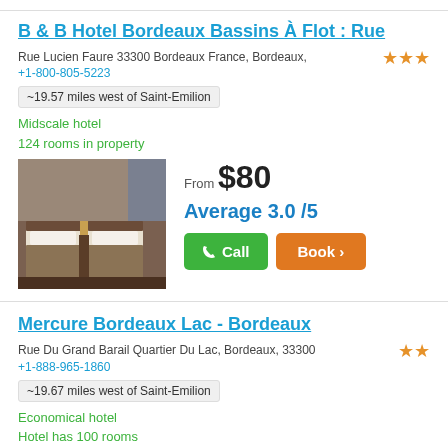B & B Hotel Bordeaux Bassins À Flot : Rue
Rue Lucien Faure 33300 Bordeaux France, Bordeaux,
+1-800-805-5223
~19.57 miles west of Saint-Emilion
Midscale hotel
124 rooms in property
[Figure (photo): Hotel room with two beds, bedside lamp, and artwork on wall]
From $80
Average 3.0 /5
Mercure Bordeaux Lac - Bordeaux
Rue Du Grand Barail Quartier Du Lac, Bordeaux, 33300
+1-888-965-1860
~19.67 miles west of Saint-Emilion
Economical hotel
Hotel has 100 rooms